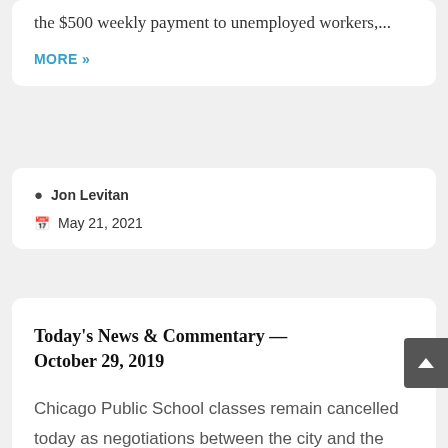the $500 weekly payment to unemployed workers,...
MORE »
Jon Levitan
May 21, 2021
Today's News & Commentary — October 29, 2019
Chicago Public School classes remain cancelled today as negotiations between the city and the Chicago Teachers Union (CTU) continue. The sides met for 16 hours yesterday, with